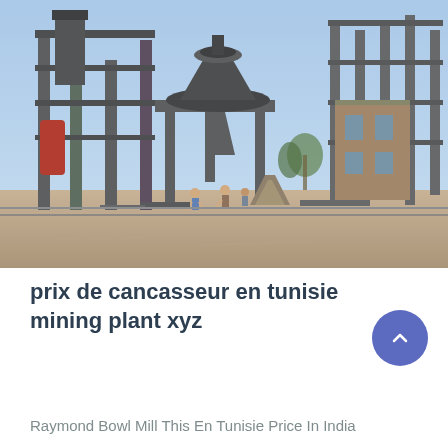[Figure (photo): Outdoor industrial mining plant construction site with large machinery, steel frame structures, conveyor systems, a large bowl/cone crusher on elevated platform, workers on the ground, sandy terrain in foreground, blue sky background.]
prix de cancasseur en tunisie mining plant xyz
Raymond Bowl Mill This En Tunisie Price In India